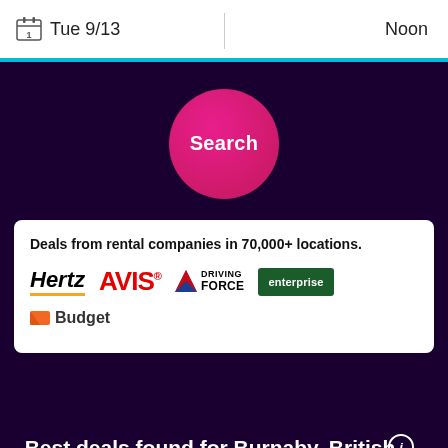Tue 9/13
Noon
[Figure (illustration): Pink/magenta circular Search button]
Deals from rental companies in 70,000+ locations.
[Figure (logo): Hertz, AVIS, DRIVING FORCE, enterprise, Budget logos]
Best deals found for Burnaby, British Columbia car rentals
Find great deals below on a variety of popular rental cars in Burnaby, British Columbia